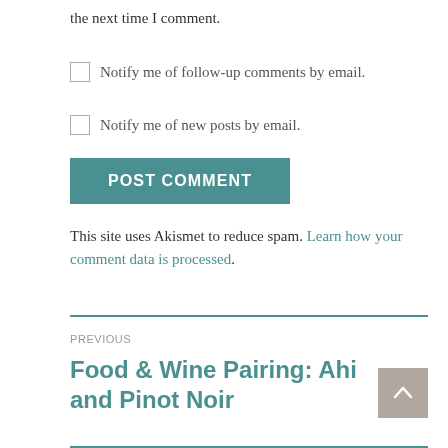the next time I comment.
Notify me of follow-up comments by email.
Notify me of new posts by email.
POST COMMENT
This site uses Akismet to reduce spam. Learn how your comment data is processed.
PREVIOUS
Food & Wine Pairing: Ahi and Pinot Noir